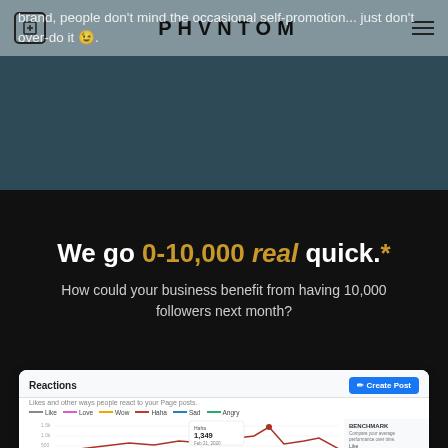PHVNTOM
brand, people don't mind the occasional self-promotion... just don't over-do it 😉.
We go 0-10,000 real quick.*
How could your business benefit from having 10,000 followers next month?
[Figure (screenshot): Facebook Reactions analytics screenshot showing a line chart with reaction types (Like, Love, Wow, Haha, Sad, Angry) over time, with a tooltip showing Haha: 1,349 on Feb 21, 2020. Includes a Create Post button and BENCHMARK panel on the right.]